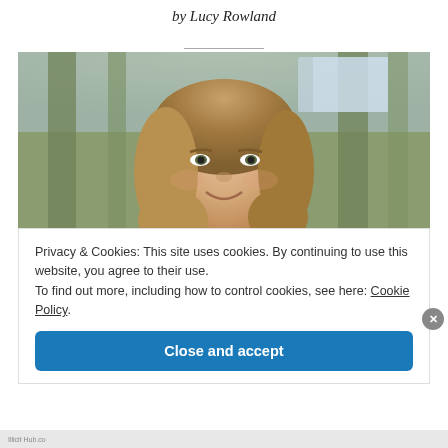by Lucy Rowland
[Figure (photo): Portrait photo of a young woman with long blonde/brown hair, smiling, in an indoor setting with blurred architectural columns in the background]
Privacy & Cookies: This site uses cookies. By continuing to use this website, you agree to their use.
To find out more, including how to control cookies, see here: Cookie Policy
Close and accept